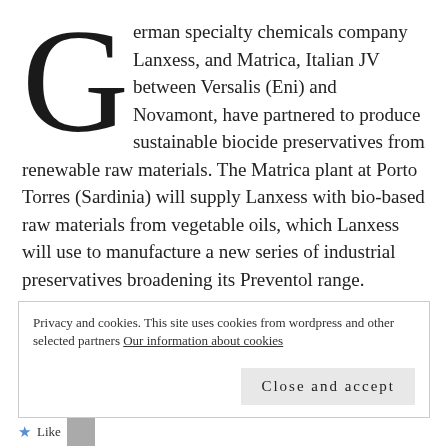German specialty chemicals company Lanxess, and Matrica, Italian JV between Versalis (Eni) and Novamont, have partnered to produce sustainable biocide preservatives from renewable raw materials. The Matrica plant at Porto Torres (Sardinia) will supply Lanxess with bio-based raw materials from vegetable oils, which Lanxess will use to manufacture a new series of industrial preservatives broadening its Preventol range.
Continue reading →
Privacy and cookies. This site uses cookies from wordpress and other selected partners Our information about cookies
Close and accept